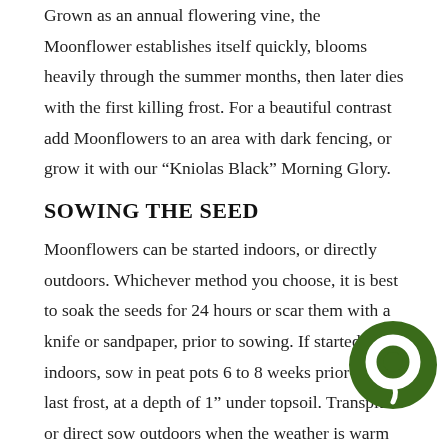Grown as an annual flowering vine, the Moonflower establishes itself quickly, blooms heavily through the summer months, then later dies with the first killing frost. For a beautiful contrast add Moonflowers to an area with dark fencing, or grow it with our “Kniolas Black” Morning Glory.
SOWING THE SEED
Moonflowers can be started indoors, or directly outdoors. Whichever method you choose, it is best to soak the seeds for 24 hours or scar them with a knife or sandpaper, prior to sowing. If started indoors, sow in peat pots 6 to 8 weeks prior to the last frost, at a depth of 1” under topsoil. Transplant or direct sow outdoors when the weather is warm and all danger of frost has passed.
GROWING CONDITIONS